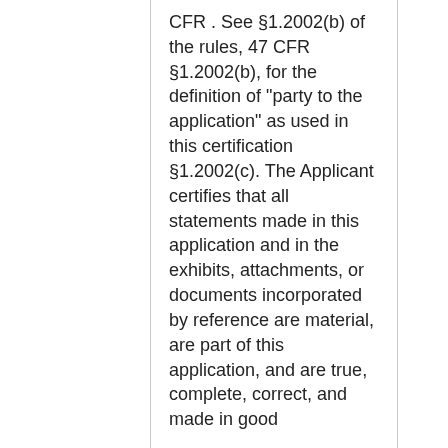CFR . See §1.2002(b) of the rules, 47 CFR §1.2002(b), for the definition of "party to the application" as used in this certification §1.2002(c). The Applicant certifies that all statements made in this application and in the exhibits, attachments, or documents incorporated by reference are material, are part of this application, and are true, complete, correct, and made in good